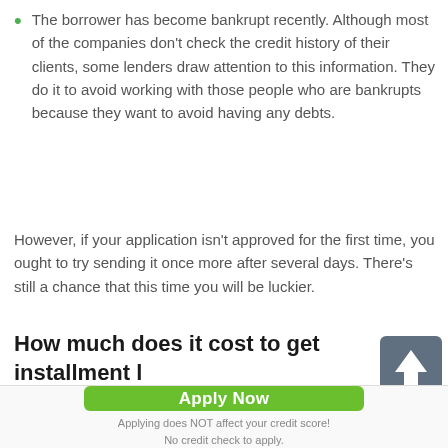The borrower has become bankrupt recently. Although most of the companies don't check the credit history of their clients, some lenders draw attention to this information. They do it to avoid working with those people who are bankrupts because they want to avoid having any debts.
However, if your application isn't approved for the first time, you ought to try sending it once more after several days. There's still a chance that this time you will be luckier.
How much does it cost to get installment loans in Hamilton Square?
[Figure (other): Dark grey square button with white upward arrow icon, used as a scroll-to-top button.]
Apply Now
Applying does NOT affect your credit score!
No credit check to apply.